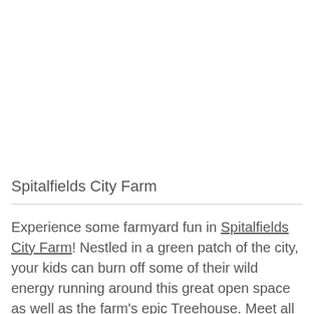Spitalfields City Farm
Experience some farmyard fun in Spitalfields City Farm! Nestled in a green patch of the city, your kids can burn off some of their wild energy running around this great open space as well as the farm’s epic Treehouse. Meet all